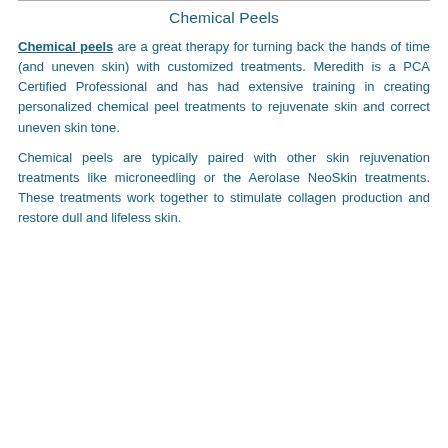Chemical Peels
Chemical peels are a great therapy for turning back the hands of time (and uneven skin) with customized treatments. Meredith is a PCA Certified Professional and has had extensive training in creating personalized chemical peel treatments to rejuvenate skin and correct uneven skin tone.
Chemical peels are typically paired with other skin rejuvenation treatments like microneedling or the Aerolase NeoSkin treatments. These treatments work together to stimulate collagen production and restore dull and lifeless skin.